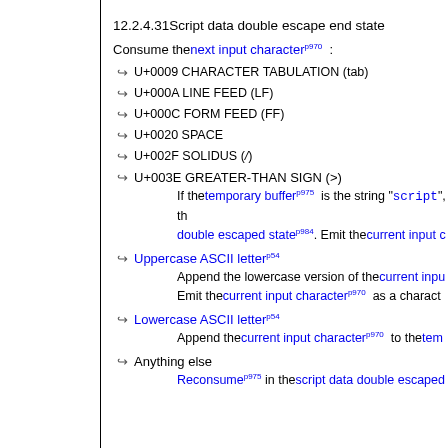12.2.4.31Script data double escape end state
Consume the next input characterp970 :
↪ U+0009 CHARACTER TABULATION (tab)
↪ U+000A LINE FEED (LF)
↪ U+000C FORM FEED (FF)
↪ U+0020 SPACE
↪ U+002F SOLIDUS (/)
↪ U+003E GREATER-THAN SIGN (>)
  If the temporary bufferp975 is the string "script", th... double escaped statep984. Emit the current input c...
↪ Uppercase ASCII letterp54
  Append the lowercase version of the current inpu...
  Emit the current input characterp970 as a charact...
↪ Lowercase ASCII letterp54
  Append the current input characterp970 to the tem...
↪ Anything else
  Reconsumep975 in the script data double escaped...